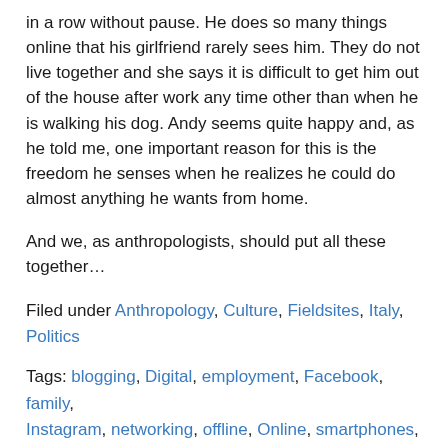in a row without pause. He does so many things online that his girlfriend rarely sees him. They do not live together and she says it is difficult to get him out of the house after work any time other than when he is walking his dog. Andy seems quite happy and, as he told me, one important reason for this is the freedom he senses when he realizes he could do almost anything he wants from home.
And we, as anthropologists, should put all these together…
Filed under Anthropology, Culture, Fieldsites, Italy, Politics
Tags: blogging, Digital, employment, Facebook, family, Instagram, networking, offline, Online, smartphones, social media, socializing, technology, whatsup